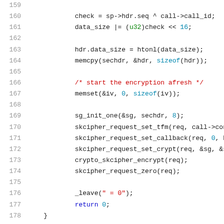Source code listing lines 159-180, showing C kernel code with syntax highlighting including check/data_size assignments, htonl/memcpy calls, encryption comment block, sg_init_one, skcipher_request functions, crypto_skcipher_encrypt, _leave and return statements, closing brace, and start of a comment at line 180.